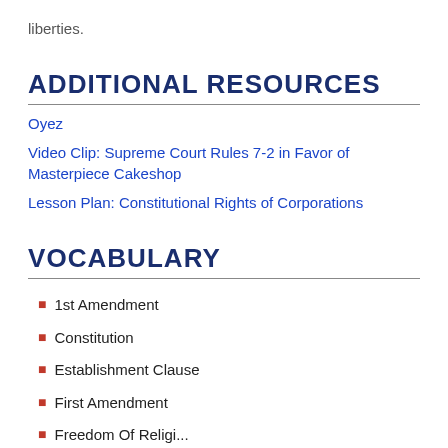liberties.
ADDITIONAL RESOURCES
Oyez
Video Clip: Supreme Court Rules 7-2 in Favor of Masterpiece Cakeshop
Lesson Plan: Constitutional Rights of Corporations
VOCABULARY
1st Amendment
Constitution
Establishment Clause
First Amendment
Freedom Of Religi...